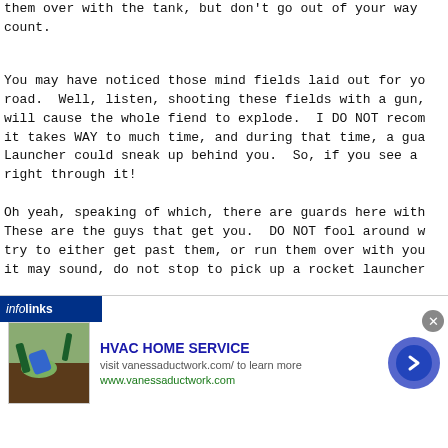them over with the tank, but don't go out of your way count.
You may have noticed those mind fields laid out for yo road.  Well, listen, shooting these fields with a gun, will cause the whole fiend to explode.  I DO NOT recom it takes WAY to much time, and during that time, a gua Launcher could sneak up behind you.  So, if you see a right through it!
Oh yeah, speaking of which, there are guards here with These are the guys that get you.  DO NOT fool around w try to either get past them, or run them over with you it may sound, do not stop to pick up a rocket launcher
There is also the matter of the cars.  Now, one of the that if you shoot a normal object in the game, be it c it will explode.  The cars on the streets are no excep will also explode when you run into them with your tar from the cars whenever possible.
Last thing, in the streets, they give you lots of fun, ovs is the tank missiles.  They are very dang
[Figure (infographic): Infolinks advertisement overlay: 'HVAC HOME SERVICE' ad with image of person gardening, visit vanessaductwork.com/ to learn more, www.vanessaductwork.com, with a blue circular arrow button and close X button.]